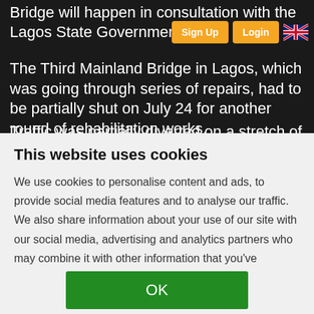Bridge will happen in consultation with the Lagos State Government.
The Third Mainland Bridge in Lagos, which was going through series of repairs, had to be partially shut on July 24 for another round of rehabilitation works.
Traffic was partially diverted on a stretch of 3.5km
This website uses cookies
We use cookies to personalise content and ads, to provide social media features and to analyse our traffic. We also share information about your use of our site with our social media, advertising and analytics partners who may combine it with other information that you've provided to them or that they've collected from your use of their services